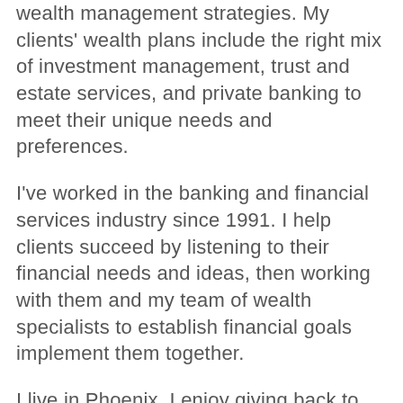wealth management strategies. My clients' wealth plans include the right mix of investment management, trust and estate services, and private banking to meet their unique needs and preferences.
I've worked in the banking and financial services industry since 1991. I help clients succeed by listening to their financial needs and ideas, then working with them and my team of wealth specialists to establish financial goals implement them together.
I live in Phoenix. I enjoy giving back to the community and have been involved in a number of non-profit boards focused in health care and education. My college-age children are my biggest joy! In my free time, I travel, garden, and try to stay fit.